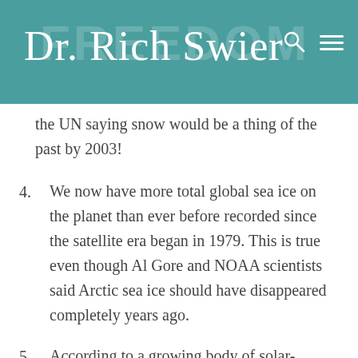Dr. Rich Swier
the UN saying snow would be a thing of the past by 2003!
4. We now have more total global sea ice on the planet than ever before recorded since the satellite era began in 1979. This is true even though Al Gore and NOAA scientists said Arctic sea ice should have disappeared completely years ago.
5. According to a growing body of solar-climate researchers, the Sun is the